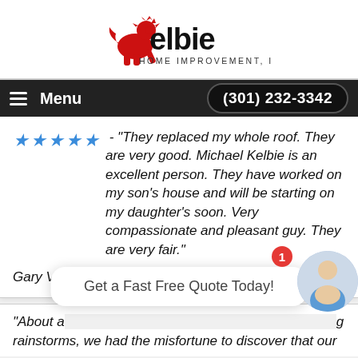[Figure (logo): Kelbie Home Improvement, Inc. logo with red rampant lion and company name]
Menu  (301) 232-3342
★★★★★ - "They replaced my whole roof. They are very good. Michael Kelbie is an excellent person. They have worked on my son's house and will be starting on my daughter's soon. Very compassionate and pleasant guy. They are very fair."
Gary Varano, Roofing in Kensington, MD
"About a [text obscured] rainstorms, we had the misfortune to discover that our
Get a Fast Free Quote Today!